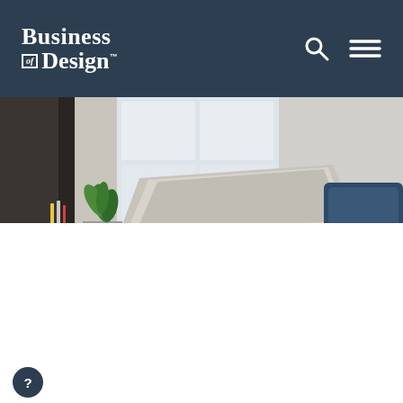Business of Design™
[Figure (photo): Office desk with open laptop, small potted plant, pencil holder, stacked spiral notebooks and white cup; blue chair in background, bright window light]
Join Business of Design®
This website uses cookies to improve your experience. We'll assume you're ok with this, but you can opt-out if you wish.
Cookie settings  ACCEPT